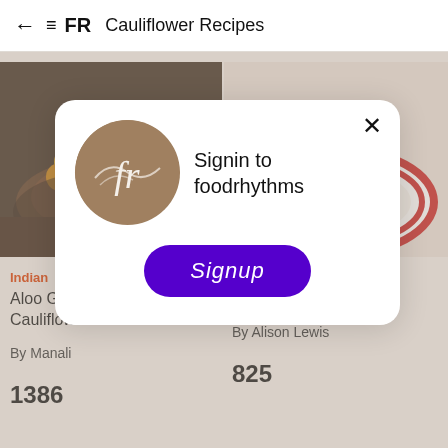← ≡ FR  Cauliflower Recipes
[Figure (screenshot): Background recipe app showing two food photos: left is Aloo Gobi (Indian cauliflower dish), right is Cauliflower Tacos (Mexican)]
[Figure (screenshot): Modal dialog: Foodrhythms logo circle with 'fr' script, text 'Signin to foodrhythms', and a purple 'Signup' button with X close button]
Signin to foodrhythms
Signup
Indian
Aloo Gobi - Potatoes & Cauliflower
By Manali
1386
Mexican
Cauliflower Tacos
By Alison Lewis
825